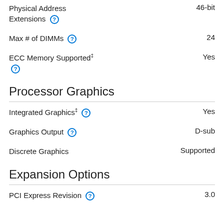Physical Address Extensions  46-bit
Max # of DIMMs  24
ECC Memory Supported ‡  Yes
Processor Graphics
Integrated Graphics ‡  Yes
Graphics Output  D-sub
Discrete Graphics  Supported
Expansion Options
PCI Express Revision  3.0